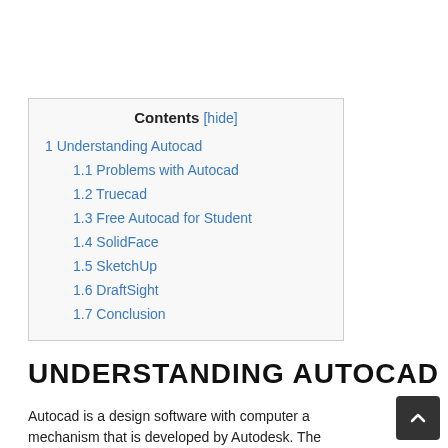1 Understanding Autocad
1.1 Problems with Autocad
1.2 Truecad
1.3 Free Autocad for Student
1.4 SolidFace
1.5 SketchUp
1.6 DraftSight
1.7 Conclusion
UNDERSTANDING AUTOCAD
Autocad is a design software with computer a mechanism that is developed by Autodesk. The